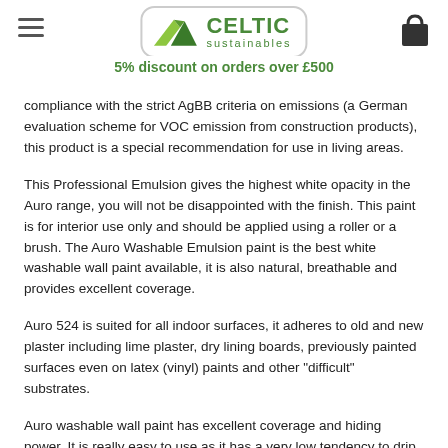Celtic Sustainables — 5% discount on orders over £500
compliance with the strict AgBB criteria on emissions (a German evaluation scheme for VOC emission from construction products), this product is a special recommendation for use in living areas.
This Professional Emulsion gives the highest white opacity in the Auro range, you will not be disappointed with the finish. This paint is for interior use only and should be applied using a roller or a brush. The Auro Washable Emulsion paint is the best white washable wall paint available, it is also natural, breathable and provides excellent coverage.
Auro 524 is suited for all indoor surfaces, it adheres to old and new plaster including lime plaster, dry lining boards, previously painted surfaces even on latex (vinyl) paints and other "difficult" substrates.
Auro washable wall paint has excellent coverage and hiding power. It is really easy to use as it has a very low tendency to drip or spatter.